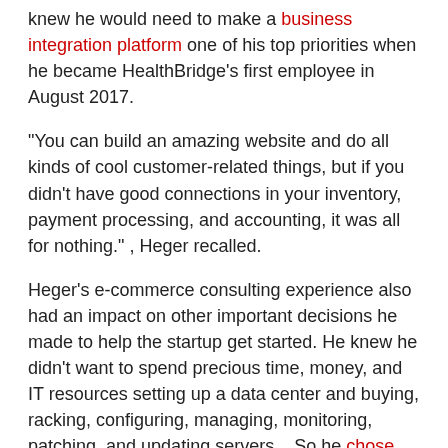knew he would need to make a business integration platform one of his top priorities when he became HealthBridge's first employee in August 2017.
“You can build an amazing website and do all kinds of cool customer-related things, but if you didn’t have good connections in your inventory, payment processing, and accounting, it was all for nothing.” , Heger recalled.
Heger’s e-commerce consulting experience also had an impact on other important decisions he made to help the startup get started. He knew he didn’t want to spend precious time, money, and IT resources setting up a data center and buying, racking, configuring, managing, monitoring, patching, and updating servers. . So he chose AWS To run all of the company’s apps, save the ones that its SaaS providers like Sage, Slack, and Jira host themselves.
“It’s really the smart way to run a very scalable business,” Heger said. “We could peak and Amazon will grow with us. When the peak disappears, it automatically decreases. The only thing that changes is our bill. We only pay for what we use instead of buying latent servers